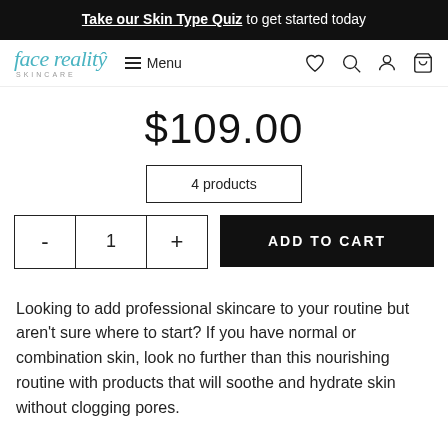Take our Skin Type Quiz to get started today
[Figure (logo): Face Reality Skincare logo with teal/cyan branding and navigation menu, icons for wishlist, search, account, and cart]
$109.00
4 products
- 1 + ADD TO CART
Looking to add professional skincare to your routine but aren't sure where to start? If you have normal or combination skin, look no further than this nourishing routine with products that will soothe and hydrate skin without clogging pores.